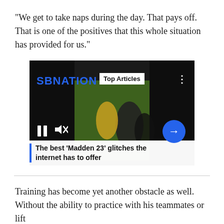“We get to take naps during the day. That pays off. That is one of the positives that this whole situation has provided for us.”
[Figure (screenshot): SBNation video player showing football players, with 'Top Articles' badge, pause and mute controls, a blue arrow button, and a caption reading 'The best ‘Madden 23’ glitches the internet has to offer']
Training has become yet another obstacle as well. Without the ability to practice with his teammates or lift